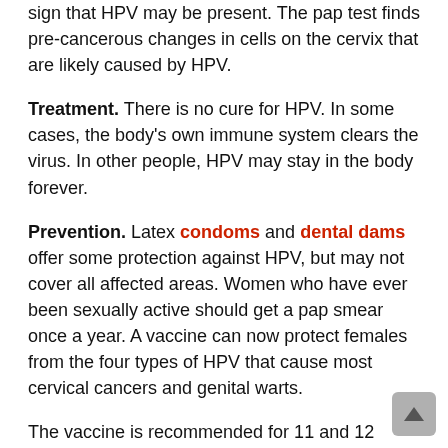sign that HPV may be present. The pap test finds pre-cancerous changes in cells on the cervix that are likely caused by HPV.
Treatment. There is no cure for HPV. In some cases, the body's own immune system clears the virus. In other people, HPV may stay in the body forever.
Prevention. Latex condoms and dental dams offer some protection against HPV, but may not cover all affected areas. Women who have ever been sexually active should get a pap smear once a year. A vaccine can now protect females from the four types of HPV that cause most cervical cancers and genital warts.
The vaccine is recommended for 11 and 12 year-old girls and boys and can be given to them as young as 9. It is also recommended for women and women age 13 through 26 who have not yet received or completed the vaccine